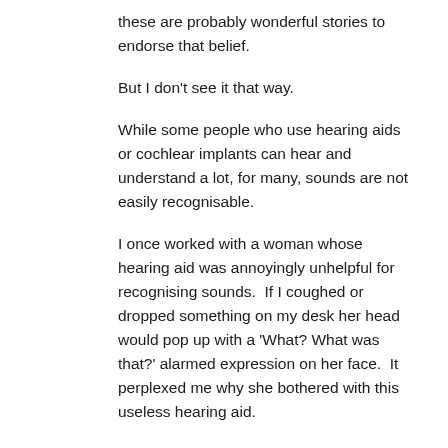these are probably wonderful stories to endorse that belief.
But I don't see it that way.
While some people who use hearing aids or cochlear implants can hear and understand a lot, for many, sounds are not easily recognisable.
I once worked with a woman whose hearing aid was annoyingly unhelpful for recognising sounds.  If I coughed or dropped something on my desk her head would pop up with a 'What? What was that?' alarmed expression on her face.  It perplexed me why she bothered with this useless hearing aid.